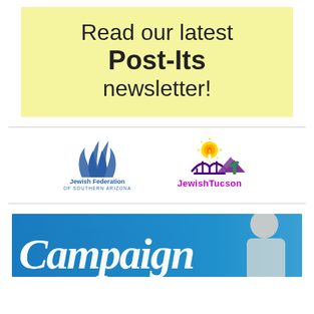Read our latest Post-Its newsletter!
[Figure (logo): Jewish Federation of Southern Arizona logo - blue flame/wheat symbol with text]
[Figure (logo): JewishTucson logo - colorful menorah, cactus and mountain design with sun]
[Figure (photo): Campaign banner - blue background with white italic script text reading 'Campaign' and partial photo of elderly person on right side]